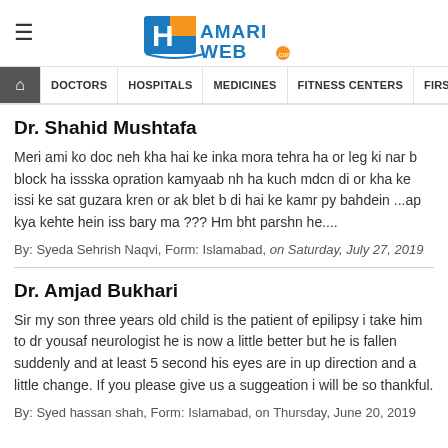[Figure (logo): Hamari Web logo with blue and orange H icon and blue/orange text]
DOCTORS | HOSPITALS | MEDICINES | FITNESS CENTERS | FIRST AIDS | BLOOD
Dr. Shahid Mushtafa
Meri ami ko doc neh kha hai ke inka mora tehra ha or leg ki nar b block ha issska opration kamyaab nh ha kuch mdcn di or kha ke issi ke sat guzara kren or ak blet b di hai ke kamr py bahdein ...ap kya kehte hein iss bary ma ??? Hm bht parshn he....
By: Syeda Sehrish Naqvi, Form: Islamabad, on Saturday, July 27, 2019
Dr. Amjad Bukhari
Sir my son three years old child is the patient of epilipsy i take him to dr yousaf neurologist he is now a little better but he is fallen suddenly and at least 5 second his eyes are in up direction and a little change. If you please give us a suggeation i will be so thankful.
By: Syed hassan shah, Form: Islamabad, on Thursday, June 20, 2019